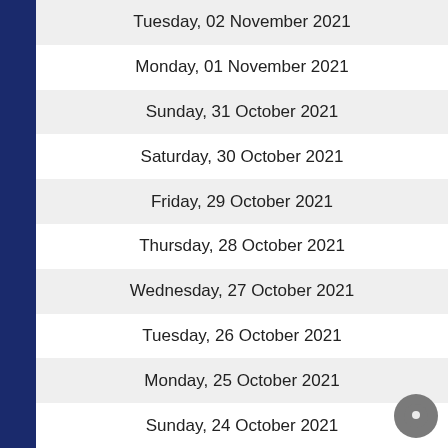Tuesday, 02 November 2021
Monday, 01 November 2021
Sunday, 31 October 2021
Saturday, 30 October 2021
Friday, 29 October 2021
Thursday, 28 October 2021
Wednesday, 27 October 2021
Tuesday, 26 October 2021
Monday, 25 October 2021
Sunday, 24 October 2021